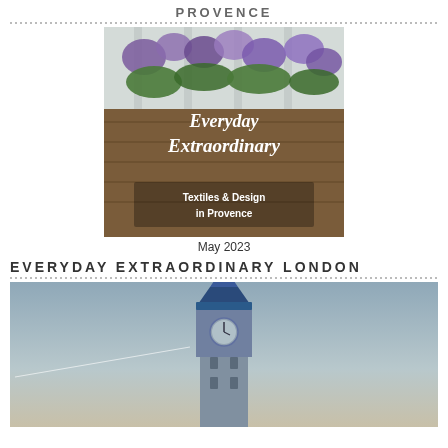PROVENCE
[Figure (illustration): Book or magazine cover titled 'Everyday Extraordinary' with subtitle 'Textiles & Design in Provence', featuring purple flowers and wooden planter box background]
May 2023
EVERYDAY EXTRAORDINARY LONDON
[Figure (photo): Photo of Big Ben / Elizabeth Tower clock tower in London with a light blue-grey sky background and a thin white contrail visible]